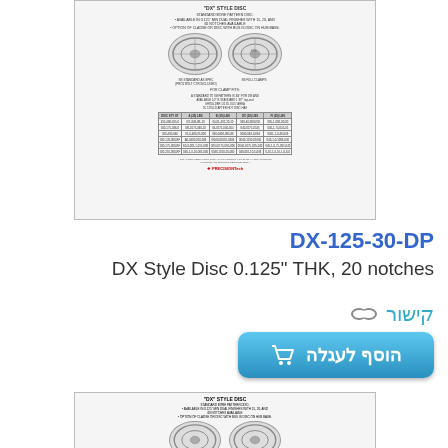[Figure (other): Thumbnail of a technical document page showing 'DX Style Disc' with product specifications, two circular disc images, and a data table with part numbers and dimensions. Includes PrecisionTech logo at bottom.]
DX-125-30-DP
DX Style Disc 0.125" THK, 20 notches
קישור
הוסף לעגלה
[Figure (other): Partial thumbnail of the same technical document page showing DX Style Disc specification sheet with two circular disc images. Bottom portion not visible.]